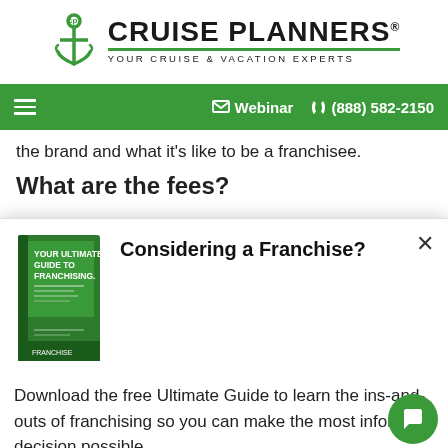[Figure (logo): Cruise Planners logo with anchor icon, bold text 'CRUISE PLANNERS' and tagline 'YOUR CRUISE & VACATION EXPERTS']
Webinar  (888) 582-2150
the brand and what it's like to be a franchisee.
What are the fees?
[Figure (other): Book cover: YOUR ULTIMATE GUIDE TO FRANCHISING]
Considering a Franchise?
Download the free Ultimate Guide to learn the ins-and-outs of franchising so you can make the most informed decision possible.
Get the Guide Now